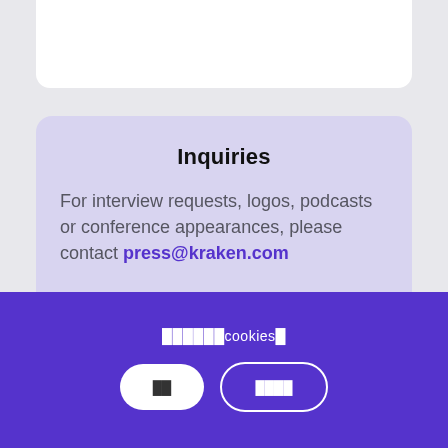Inquiries
For interview requests, logos, podcasts or conference appearances, please contact press@kraken.com
Images available for download:
██████cookies█
██
████